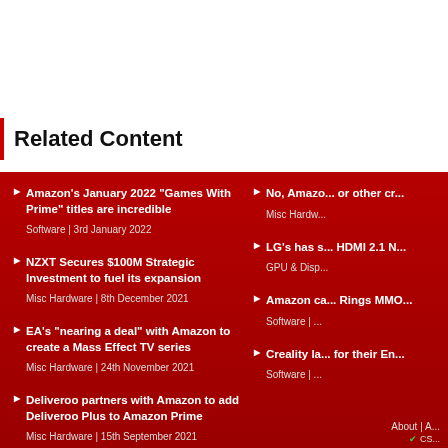Related Content
Amazon's January 2022 "Games With Prime" titles are incredible
Software | 3rd January 2022
NZXT Secures $100M Strategic Investment to fuel its expansion
Misc Hardware | 8th December 2021
EA's "nearing a deal" with Amazon to create a Mass Effect TV series
Misc Hardware | 24th November 2021
Deliveroo partners with Amazon to add Deliveroo Plus to Amazon Prime
Misc Hardware | 15th September 2021
No, Amazo... or other cr...
Misc Hardw...
LG's has s... HDMI 2.1 N...
GPU & Disp...
Amazon ca... Rings MMO...
Software | ...
Creality la... for their En...
Software | ...
About | A... CS...